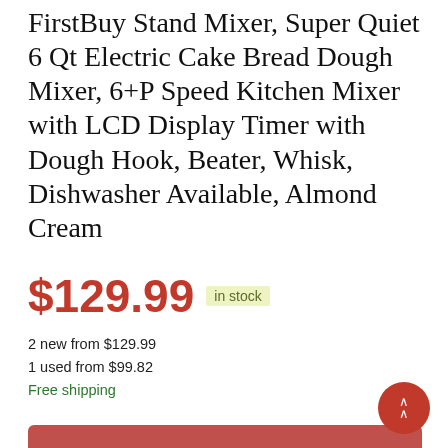FirstBuy Stand Mixer, Super Quiet 6 Qt Electric Cake Bread Dough Mixer, 6+P Speed Kitchen Mixer with LCD Display Timer with Dough Hook, Beater, Whisk, Dishwasher Available, Almond Cream
$129.99 in stock
2 new from $129.99
1 used from $99.82
Free shipping
BUY NOW
Amazon.com
as of August 23, 2023 2:47 am